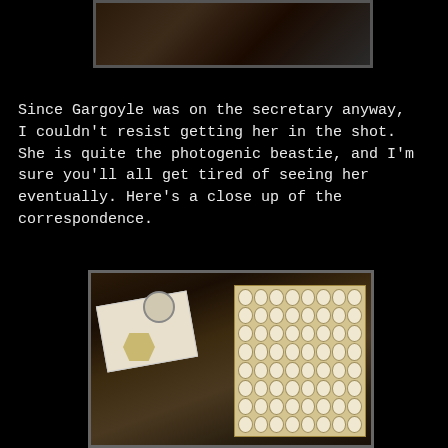[Figure (photo): Partial photo at top of page showing a dark surface with objects, cropped]
Since Gargoyle was on the secretary anyway, I couldn't resist getting her in the shot. She is quite the photogenic beastie, and I'm sure you'll all get tired of seeing her eventually. Here's a close up of the correspondence.
[Figure (photo): Close-up photo of correspondence items on a wooden table: envelopes, a circular stamp/sticker with a ship, a hexagonal token with letter A, and a box of small round tokens/chips arranged in a grid]